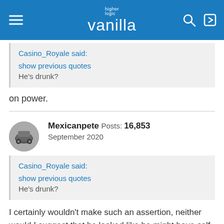higher logic vanilla
Casino_Royale said:
show previous quotes
He's drunk?
on power.
Mexicanpete  Posts: 16,853
September 2020
Casino_Royale said:
show previous quotes
He's drunk?
I certainly wouldn't make such an assertion, neither would I suggest that he looked like he might have self